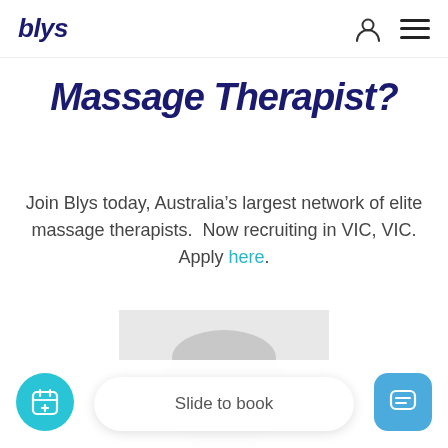blys
Massage Therapist?
Join Blys today, Australia’s largest network of elite massage therapists.  Now recruiting in VIC, VIC. Apply here.
[Figure (photo): Black and white headshot photo of a smiling woman with glasses and blonde hair pulled back, wearing a dark top.]
Slide to book